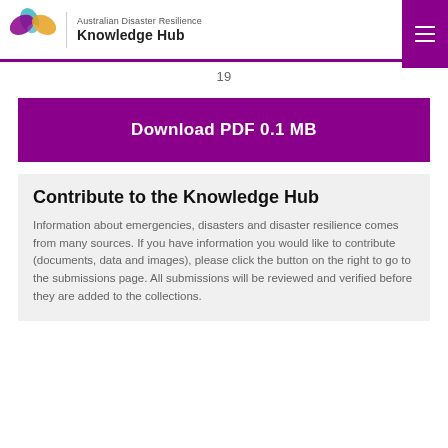Australian Disaster Resilience Knowledge Hub
19
Download PDF 0.1 MB
Contribute to the Knowledge Hub
Information about emergencies, disasters and disaster resilience comes from many sources. If you have information you would like to contribute (documents, data and images), please click the button on the right to go to the submissions page. All submissions will be reviewed and verified before they are added to the collections.